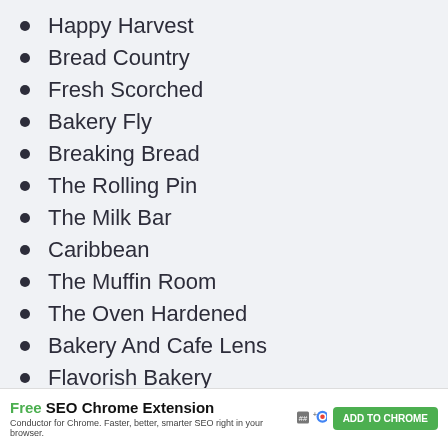Happy Harvest
Bread Country
Fresh Scorched
Bakery Fly
Breaking Bread
The Rolling Pin
The Milk Bar
Caribbean
The Muffin Room
The Oven Hardened
Bakery And Cafe Lens
Flavorish Bakery
Bakellery (partial)
Free SEO Chrome Extension — Conductor for Chrome. Faster, better, smarter SEO right in your browser. ADD TO CHROME